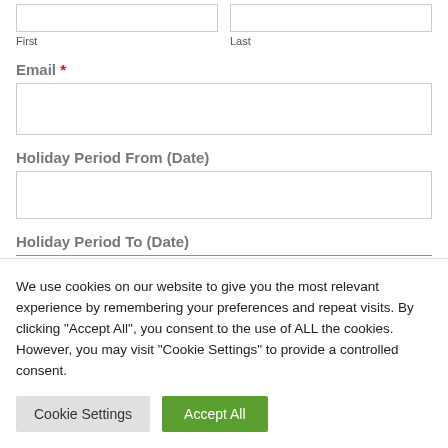First
Last
Email *
Holiday Period From (Date)
Holiday Period To (Date)
We use cookies on our website to give you the most relevant experience by remembering your preferences and repeat visits. By clicking "Accept All", you consent to the use of ALL the cookies. However, you may visit "Cookie Settings" to provide a controlled consent.
Cookie Settings
Accept All